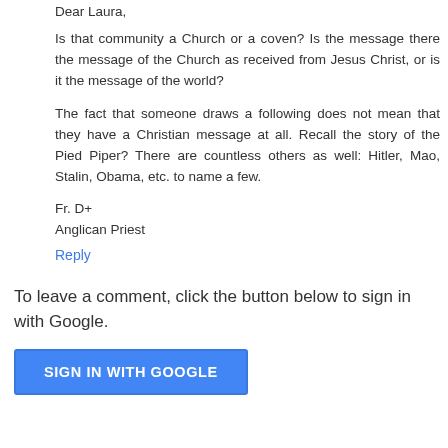Dear Laura,
Is that community a Church or a coven? Is the message there the message of the Church as received from Jesus Christ, or is it the message of the world?
The fact that someone draws a following does not mean that they have a Christian message at all. Recall the story of the Pied Piper? There are countless others as well: Hitler, Mao, Stalin, Obama, etc. to name a few.
Fr. D+
Anglican Priest
Reply
To leave a comment, click the button below to sign in with Google.
SIGN IN WITH GOOGLE